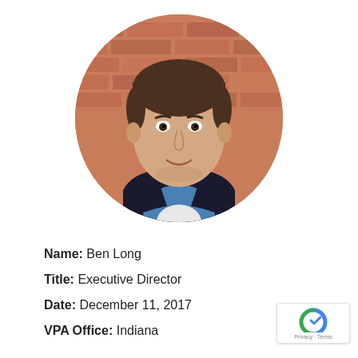[Figure (photo): Circular headshot photo of Ben Long, a man wearing a dark blazer and blue shirt, posing in front of a brick wall background.]
Name: Ben Long
Title: Executive Director
Date: December 11, 2017
VPA Office: Indiana